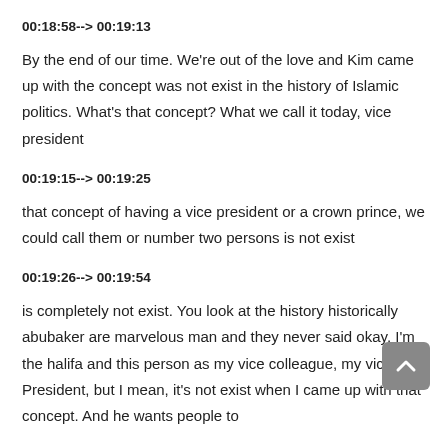00:18:58--> 00:19:13
By the end of our time. We're out of the love and Kim came up with the concept was not exist in the history of Islamic politics. What's that concept? What we call it today, vice president
00:19:15--> 00:19:25
that concept of having a vice president or a crown prince, we could call them or number two persons is not exist
00:19:26--> 00:19:54
is completely not exist. You look at the history historically abubaker are marvelous man and they never said okay, I'm the halifa and this person as my vice colleague, my vice Vice President, but I mean, it's not exist when I came up with that concept. And he wants people to